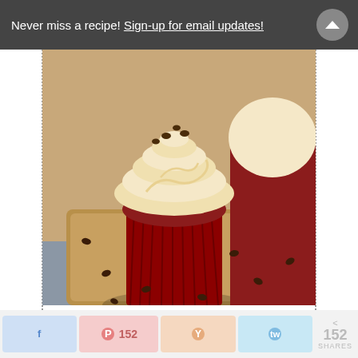Never miss a recipe! Sign-up for email updates!
[Figure (photo): Red velvet cupcake with cream cheese frosting and mini chocolate chips on a wooden board with chocolate chips scattered around]
4 from 1 vote
PRINT
RED VELVET COOKIE
Facebook share | Pinterest 152 | Yummly | Twitter | < 152 SHARES